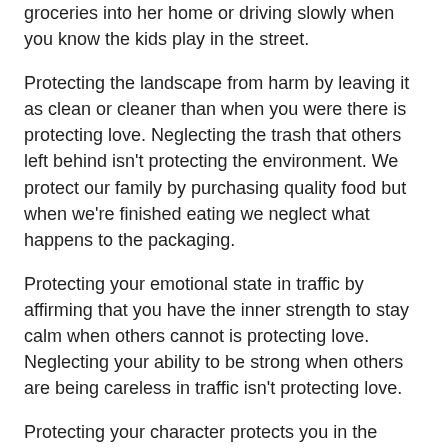groceries into her home or driving slowly when you know the kids play in the street.
Protecting the landscape from harm by leaving it as clean or cleaner than when you were there is protecting love. Neglecting the trash that others left behind isn't protecting the environment. We protect our family by purchasing quality food but when we're finished eating we neglect what happens to the packaging.
Protecting your emotional state in traffic by affirming that you have the inner strength to stay calm when others cannot is protecting love. Neglecting your ability to be strong when others are being careless in traffic isn't protecting love.
Protecting your character protects you in the present. Protecting your thoughts words and actions protects you in the future.
Protecting animals is good. Remember the mouse that protected the lion from the thorn in his paw? Those that